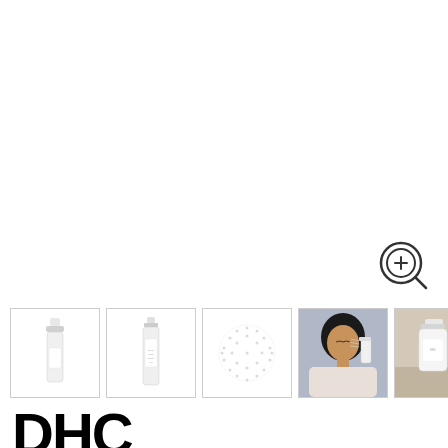[Figure (screenshot): Zoom/magnify icon (circle with plus and magnifying glass) in upper right area]
[Figure (photo): Thumbnail strip of 5 product images: (1) DHC Super Collagen Mist spray bottle front view, (2) bottle with label text, (3) abstract dot/sphere pattern graphic, (4) woman spraying mist on face against gray background, (5) product bottle on surface lifestyle shot]
DHC
DHC Super Collagen Mist 50ml